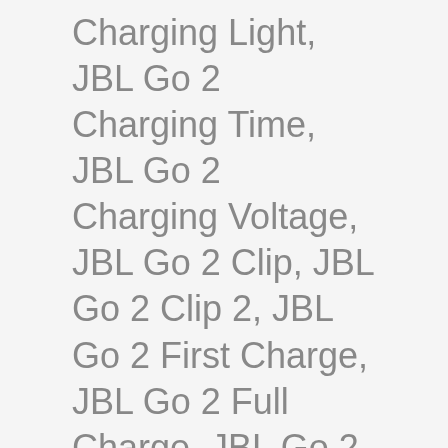Charging Light, JBL Go 2 Charging Time, JBL Go 2 Charging Voltage, JBL Go 2 Clip, JBL Go 2 Clip 2, JBL Go 2 First Charge, JBL Go 2 Full Charge, JBL Go 2 Full Charge Indicator, JBL Go 2 Fully Charged, JBL Go 2 Harman, JBL Go 2 How Long to Charge, JBL Go 2 How to Charge, JBL Go 2 How to Know if Fully Charged, JBL Go 2 Images, JBL Go 2 IPX7, JBL Go 2 MaH, JBL Go 2